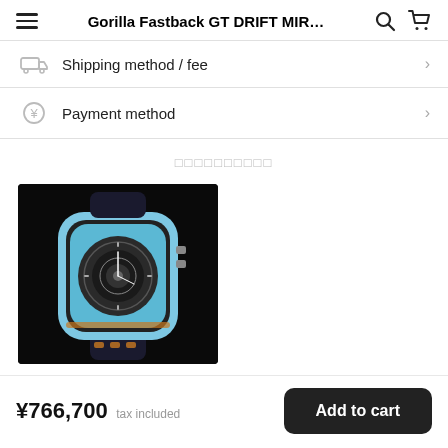Gorilla Fastback GT DRIFT MIR…
Shipping method / fee
Payment method
□□□□□□□□□□
[Figure (photo): A luxury sport watch with a light blue case, skeleton dial, carbon fiber bracelet, and orange accents on a dark background. The watch is the Gorilla Fastback GT DRIFT MIR model.]
¥766,700 tax included
Add to cart